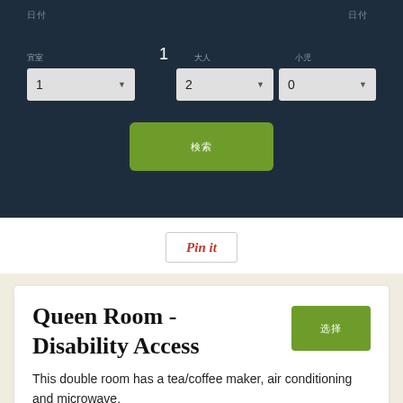[Figure (screenshot): Hotel booking form UI with dark navy background, dropdown selectors for rooms, nights, adults, and children, and a green search button]
[Figure (screenshot): Pin it button with red italic text and border]
Queen Room - Disability Access
This double room has a tea/coffee maker, air conditioning and microwave.